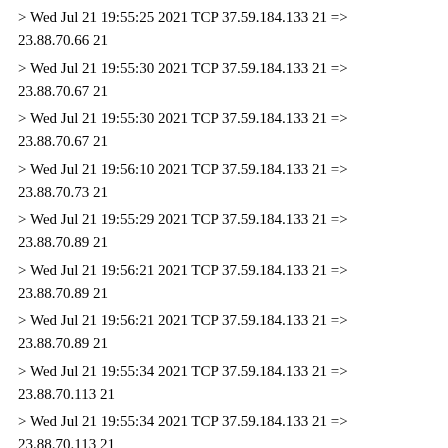> Wed Jul 21 19:55:25 2021 TCP 37.59.184.133 21 => 23.88.70.66 21
> Wed Jul 21 19:55:30 2021 TCP 37.59.184.133 21 => 23.88.70.67 21
> Wed Jul 21 19:55:30 2021 TCP 37.59.184.133 21 => 23.88.70.67 21
> Wed Jul 21 19:56:10 2021 TCP 37.59.184.133 21 => 23.88.70.73 21
> Wed Jul 21 19:55:29 2021 TCP 37.59.184.133 21 => 23.88.70.89 21
> Wed Jul 21 19:56:21 2021 TCP 37.59.184.133 21 => 23.88.70.89 21
> Wed Jul 21 19:56:21 2021 TCP 37.59.184.133 21 => 23.88.70.89 21
> Wed Jul 21 19:55:34 2021 TCP 37.59.184.133 21 => 23.88.70.113 21
> Wed Jul 21 19:55:34 2021 TCP 37.59.184.133 21 => 23.88.70.113 21
> Wed Jul 21 19:56:17 2021 TCP 37.59.184.133 21 =>